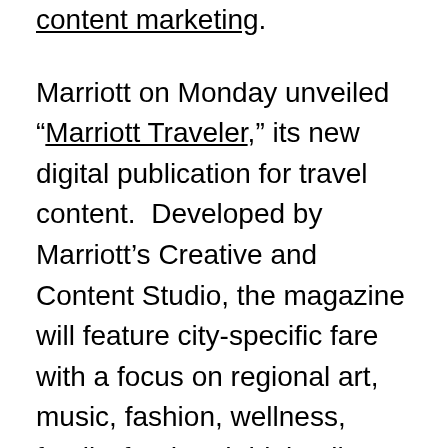content marketing.
Marriott on Monday unveiled “Marriott Traveler,” its new digital publication for travel content.  Developed by Marriott’s Creative and Content Studio, the magazine will feature city-specific fare with a focus on regional art, music, fashion, wellness, family, food and drink, all curated weekly by staff, digital influencers as well as local experts.
The first edition was a dive into New Orleans, featuring articles with titles like “Art After Dark in New Orleans” and “5 Places to Take Your Little Theater Geek in New Orleans.” Other recent